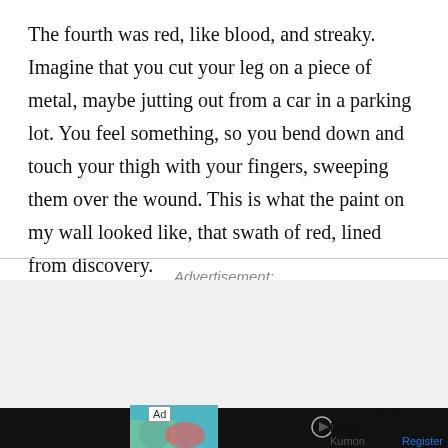The fourth was red, like blood, and streaky. Imagine that you cut your leg on a piece of metal, maybe jutting out from a car in a parking lot. You feel something, so you bend down and touch your thigh with your fingers, sweeping them over the wound. This is what the paint on my wall looked like, that swath of red, lined from discovery.
Advertisement:
[Figure (other): Advertisement banner showing Kumon Math & Reading ad with a woman and child, Ad tag, play button, and Register link. Close button (×) in red at bottom right.]